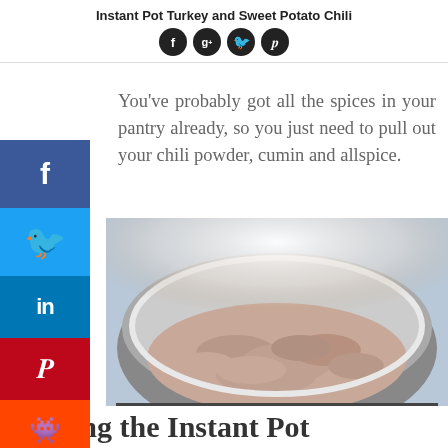Instant Pot Turkey and Sweet Potato Chili
You’ve probably got all the spices in your pantry already, so you just need to pull out your chili powder, cumin and allspice.
[Figure (photo): Photo of ground turkey being cooked in an Instant Pot pressure cooker, with steam rising from the meat.]
Making the Instant Pot